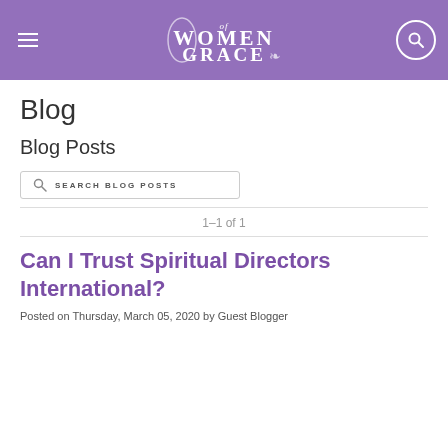Women of Grace — site header with navigation and search
Blog
Blog Posts
SEARCH BLOG POSTS
1–1 of 1
Can I Trust Spiritual Directors International?
Posted on Thursday, March 05, 2020 by Guest Blogger